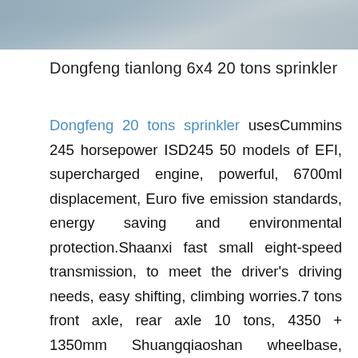[Figure (photo): Partial view of a vehicle or truck, cropped at top of page]
Dongfeng tianlong 6x4 20 tons sprinkler
Dongfeng 20 tons sprinkler usesCummins 245 horsepower ISD245 50 models of EFI, supercharged engine, powerful, 6700ml displacement, Euro five emission standards, energy saving and environmental protection.Shaanxi fast small eight-speed transmission, to meet the driver's driving needs, easy shifting, climbing worries.7 tons front axle, rear axle 10 tons, 4350 + 1350mm Shuangqiaoshan wheelbase, stronger truckrier.11.00R20 steel tire factory we have a